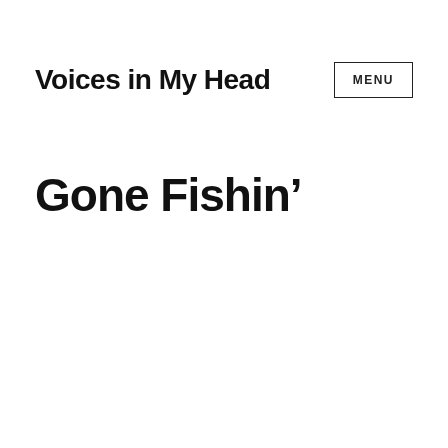Voices in My Head
MENU
Gone Fishin’